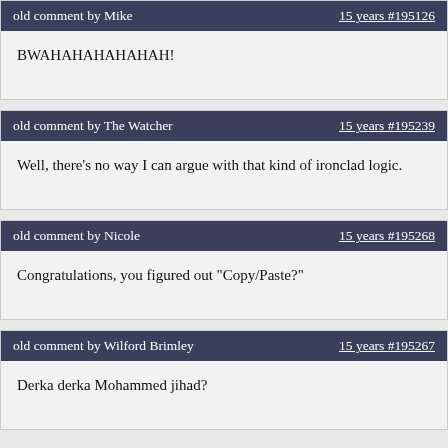old comment by Mike | 15 years #195126
BWAHAHAHAHAHAH!
old comment by The Watcher | 15 years #195239
Well, there's no way I can argue with that kind of ironclad logic.
old comment by Nicole | 15 years #195268
Congratulations, you figured out "Copy/Paste?"
old comment by Wilford Brimley | 15 years #195267
Derka derka Mohammed jihad?